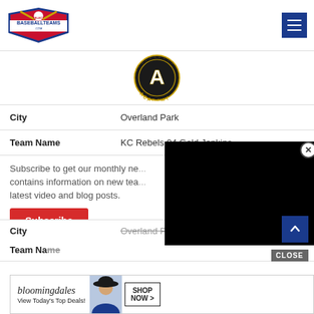SelectBaseballTeams.com logo and navigation hamburger menu
[Figure (logo): Academy team logo - black circular badge with letter A and text ACADEMY in gold]
| Field | Value |
| --- | --- |
| City | Overland Park |
| Team Name | KC Rebels 04 Gold Jenkins |
Subscribe to get our monthly ne... contains information on new tea... latest video and blog posts.
[Figure (other): Black video player overlay with close button]
| Field | Value |
| --- | --- |
| City | Overland Park |
| Team Name |  |
[Figure (advertisement): Bloomingdales advertisement - View Today's Top Deals with Shop Now button]